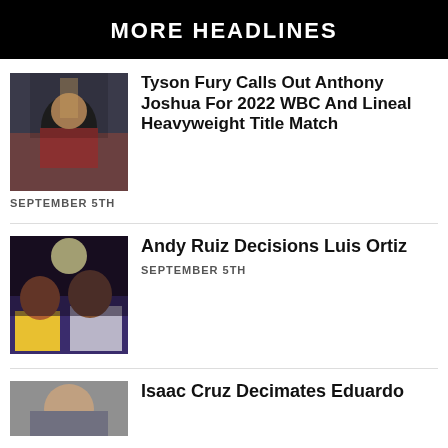MORE HEADLINES
Tyson Fury Calls Out Anthony Joshua For 2022 WBC And Lineal Heavyweight Title Match
SEPTEMBER 5TH
Andy Ruiz Decisions Luis Ortiz
SEPTEMBER 5TH
Isaac Cruz Decimates Eduardo